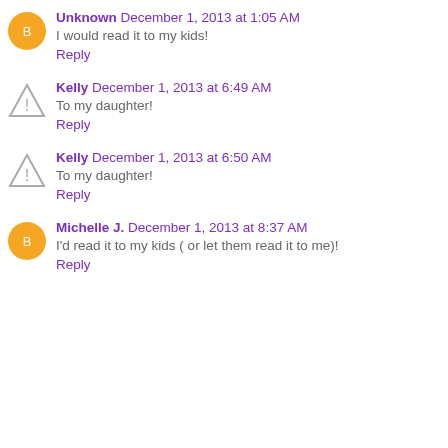Unknown December 1, 2013 at 1:05 AM
I would read it to my kids!
Reply
Kelly December 1, 2013 at 6:49 AM
To my daughter!
Reply
Kelly December 1, 2013 at 6:50 AM
To my daughter!
Reply
Michelle J. December 1, 2013 at 8:37 AM
I'd read it to my kids ( or let them read it to me)!
Reply